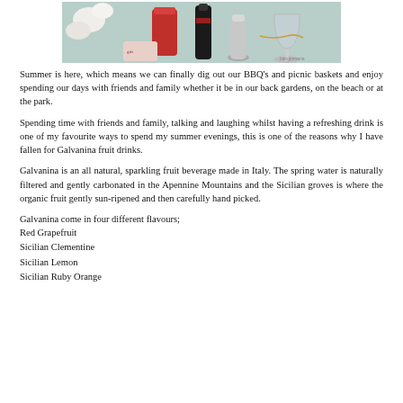[Figure (photo): Photo of a table setting with a red candle, drinks in glasses, white flowers, and decorative items on a light-colored surface.]
Summer is here, which means we can finally dig out our BBQ's and picnic baskets and enjoy spending our days with friends and family whether it be in our back gardens, on the beach or at the park.
Spending time with friends and family, talking and laughing whilst having a refreshing drink is one of my favourite ways to spend my summer evenings, this is one of the reasons why I have fallen for Galvanina fruit drinks.
Galvanina is an all natural, sparkling fruit beverage made in Italy. The spring water is naturally filtered and gently carbonated in the Apennine Mountains and the Sicilian groves is where the organic fruit gently sun-ripened and then carefully hand picked.
Galvanina come in four different flavours;
Red Grapefruit
Sicilian Clementine
Sicilian Lemon
Sicilian Ruby Orange